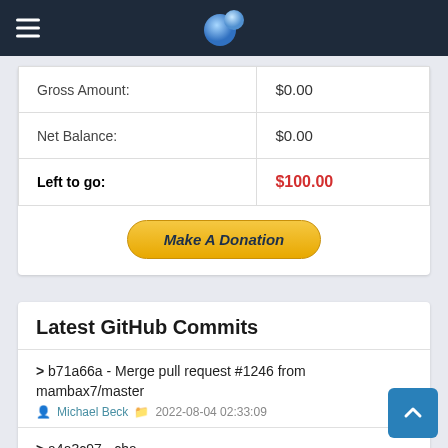Navigation bar with hamburger menu and logo
|  |  |
| --- | --- |
| Gross Amount: | $0.00 |
| Net Balance: | $0.00 |
| Left to go: | $100.00 |
Make A Donation
Latest GitHub Commits
> b71a66a - Merge pull request #1246 from mambax7/master
Michael Beck  2022-08-04 02:33:09
> a4a3c97 - cha
mambax7  2022-08-04 02:31:18